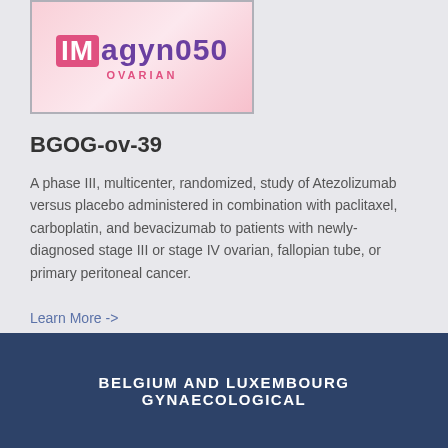[Figure (logo): IMagyn050 OVARIAN clinical trial logo on pink gradient background]
BGOG-ov-39
A phase III, multicenter, randomized, study of Atezolizumab versus placebo administered in combination with paclitaxel, carboplatin, and bevacizumab to patients with newly-diagnosed stage III or stage IV ovarian, fallopian tube, or primary peritoneal cancer.
Learn More ->
BELGIUM AND LUXEMBOURG GYNAECOLOGICAL